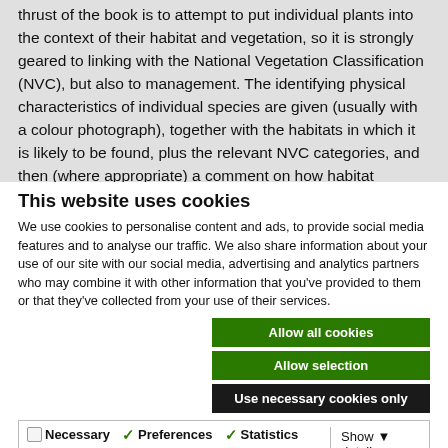thrust of the book is to attempt to put individual plants into the context of their habitat and vegetation, so it is strongly geared to linking with the National Vegetation Classification (NVC), but also to management. The identifying physical characteristics of individual species are given (usually with a colour photograph), together with the habitats in which it is likely to be found, plus the relevant NVC categories, and then (where appropriate) a comment on how habitat management is relevant, e.g. Devils-bit Scabious, Succisa...
This website uses cookies
We use cookies to personalise content and ads, to provide social media features and to analyse our traffic. We also share information about your use of our site with our social media, advertising and analytics partners who may combine it with other information that you've provided to them or that they've collected from your use of their services.
Allow all cookies
Allow selection
Use necessary cookies only
Necessary | Preferences | Statistics | Marketing | Show details